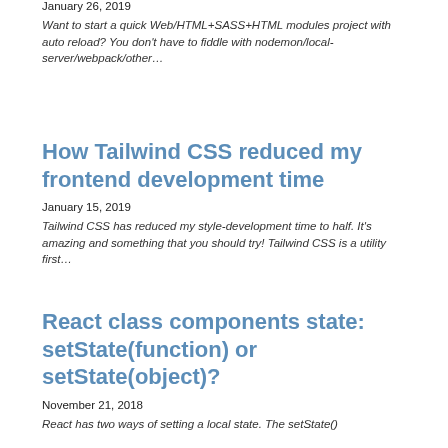January 26, 2019
Want to start a quick Web/HTML+SASS+HTML modules project with auto reload? You don't have to fiddle with nodemon/local-server/webpack/other…
How Tailwind CSS reduced my frontend development time
January 15, 2019
Tailwind CSS has reduced my style-development time to half. It's amazing and something that you should try! Tailwind CSS is a utility first…
React class components state: setState(function) or setState(object)?
November 21, 2018
React has two ways of setting a local state. The setState()